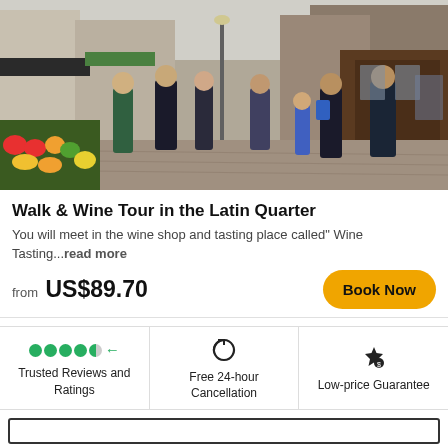[Figure (photo): Street scene in the Latin Quarter of Paris with pedestrians walking along a market street lined with shops, cafes, and a fruit/vegetable market stall in the foreground]
Walk & Wine Tour in the Latin Quarter
You will meet in the wine shop and tasting place called" Wine Tasting...read more
from US$89.70
Book Now
Trusted Reviews and Ratings
Free 24-hour Cancellation
Low-price Guarantee